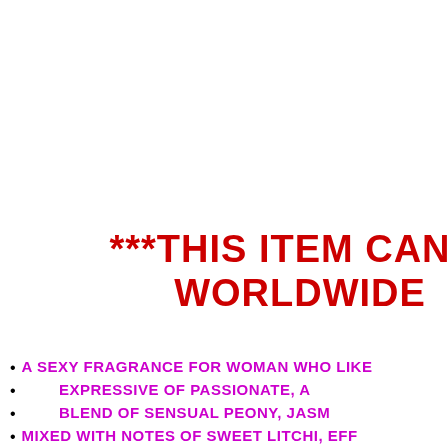***THIS ITEM CAN B WORLDWIDE
A SEXY FRAGRANCE FOR WOMAN WHO LIKE
EXPRESSIVE OF PASSIONATE, A
BLEND OF SENSUAL PEONY, JASM
MIXED WITH NOTES OF SWEET LITCHI, EFF
PINEAPPLE